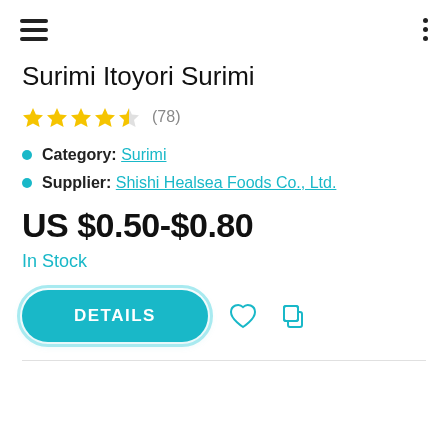Navigation menu and options
Surimi Itoyori Surimi
★★★★½ (78)
Category: Surimi
Supplier: Shishi Healsea Foods Co., Ltd.
US $0.50-$0.80
In Stock
DETAILS